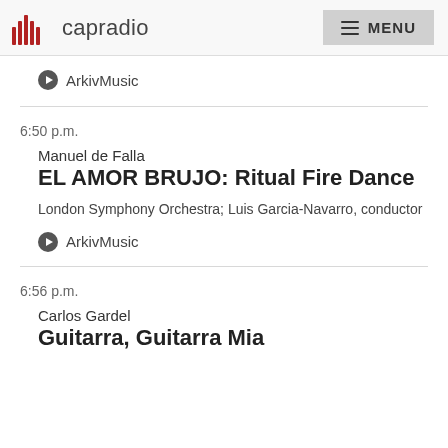capradio  MENU
ArkivMusic
6:50 p.m.
Manuel de Falla
EL AMOR BRUJO: Ritual Fire Dance
London Symphony Orchestra; Luis Garcia-Navarro, conductor
ArkivMusic
6:56 p.m.
Carlos Gardel
Guitarra, Guitarra Mia